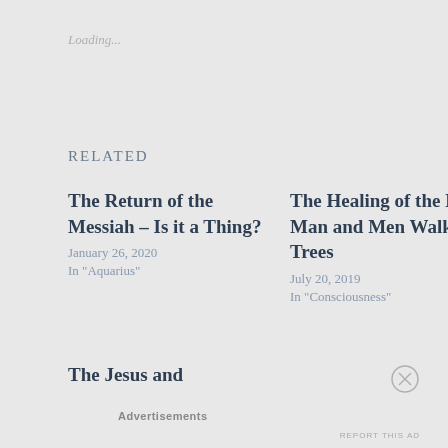Loading...
Related
The Return of the Messiah – Is it a Thing?
January 26, 2020
In "Aquarius"
The Healing of the Blind Man and Men Walking as Trees
July 20, 2019
In "Consciousness"
The Jesus and
Advertisements